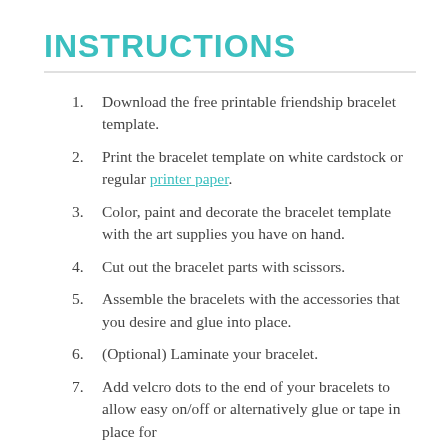INSTRUCTIONS
Download the free printable friendship bracelet template.
Print the bracelet template on white cardstock or regular printer paper.
Color, paint and decorate the bracelet template with the art supplies you have on hand.
Cut out the bracelet parts with scissors.
Assemble the bracelets with the accessories that you desire and glue into place.
(Optional) Laminate your bracelet.
Add velcro dots to the end of your bracelets to allow easy on/off or alternatively glue or tape in place for